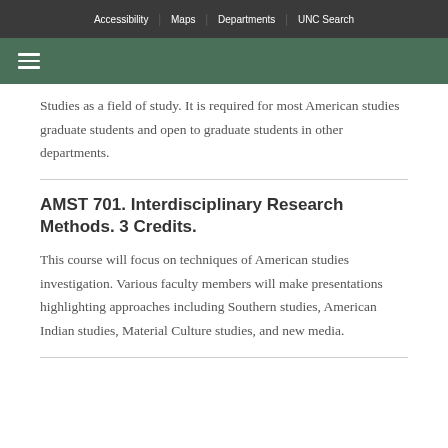Accessibility | Maps | Departments | UNC Search
Studies as a field of study. It is required for most American studies graduate students and open to graduate students in other departments.
AMST 701. Interdisciplinary Research Methods. 3 Credits.
This course will focus on techniques of American studies investigation. Various faculty members will make presentations highlighting approaches including Southern studies, American Indian studies, Material Culture studies, and new media.